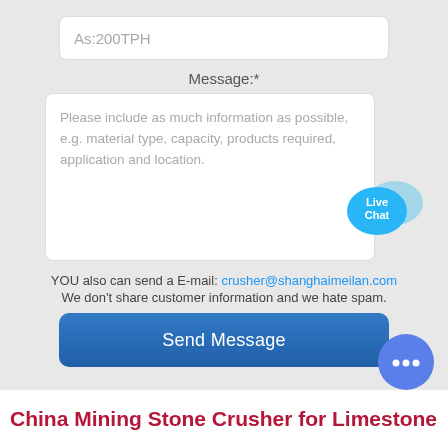As:200TPH
Message:*
Please include as much information as possible, e.g. material type, capacity, products required, application and location.
YOU also can send a E-mail: crusher@shanghaimeilan.com
We don't share customer information and we hate spam.
Send Message
China Mining Stone Crusher for Limestone